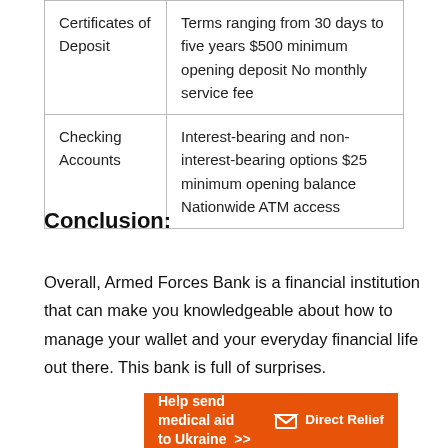|  |  |
| --- | --- |
| Certificates of Deposit | Terms ranging from 30 days to five years $500 minimum opening deposit No monthly service fee |
| Checking Accounts | Interest-bearing and non-interest-bearing options $25 minimum opening balance Nationwide ATM access |
Conclusion:
Overall, Armed Forces Bank is a financial institution that can make you knowledgeable about how to manage your wallet and your everyday financial life out there. This bank is full of surprises.
[Figure (infographic): Orange banner advertisement: 'Help send medical aid to Ukraine >>' with Direct Relief logo on the right]